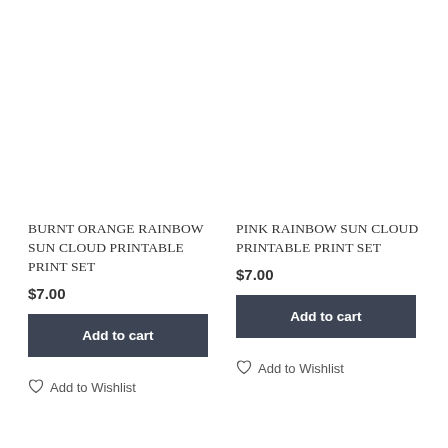[Figure (photo): Product image area for Burnt Orange Rainbow Sun Cloud Printable Print Set (white/empty)]
BURNT ORANGE RAINBOW SUN CLOUD PRINTABLE PRINT SET
$7.00
Add to cart
Add to Wishlist
[Figure (photo): Product image area for Pink Rainbow Sun Cloud Printable Print Set (white/empty)]
PINK RAINBOW SUN CLOUD PRINTABLE PRINT SET
$7.00
Add to cart
Add to Wishlist